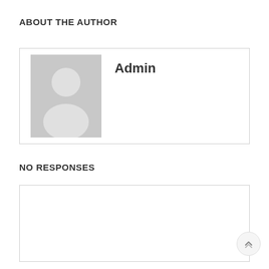ABOUT THE AUTHOR
[Figure (illustration): Author card with a generic grey avatar placeholder image showing a silhouette person icon, and the name 'Admin' in bold to the right.]
NO RESPONSES
[Figure (other): Empty white text input/response box with a light grey border.]